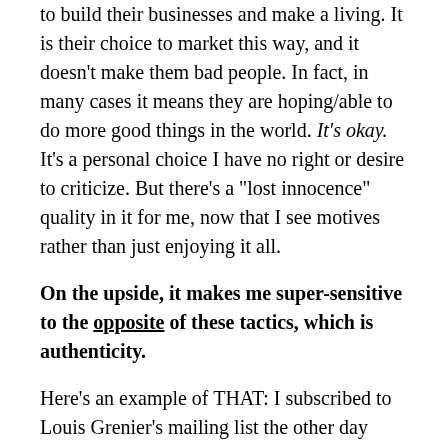to build their businesses and make a living. It is their choice to market this way, and it doesn't make them bad people. In fact, in many cases it means they are hoping/able to do more good things in the world. It's okay. It's a personal choice I have no right or desire to criticize. But there's a "lost innocence" quality in it for me, now that I see motives rather than just enjoying it all.
On the upside, it makes me super-sensitive to the opposite of these tactics, which is authenticity.
Here's an example of THAT: I subscribed to Louis Grenier's mailing list the other day because I wanted the promised free download called "How to stand out: 9 bullshit-free lessons from world-class tech marketers." The download was fine, but the emails I received made me smile. The first email was just a basic thank-you